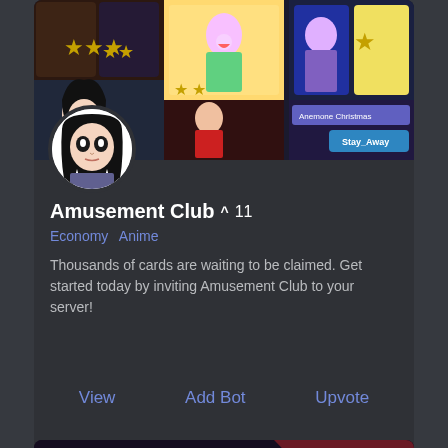[Figure (screenshot): Banner collage of anime card game cards with colorful characters]
[Figure (illustration): Avatar of an anime girl with black hair on white background]
Amusement Club ^ 11
Economy  Anime
Thousands of cards are waiting to be claimed. Get started today by inviting Amusement Club to your server!
View   Add Bot   Upvote
[Figure (illustration): Anime character with long dark red hair in dark fantasy armor, reclining pose]